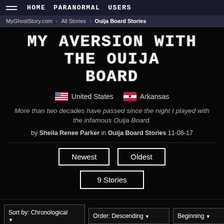HOME  PARANORMAL  USERS
MyGhostStory.com > All Stories > Ouija Board Stories
MY AVERSION WITH THE OUIJA BOARD
🇺🇸 United States  🇦🇷 Arkansas
More than two decades have passed since the night I played with the infamous Ouija Board.
by Sheila Renee Parker in Ouija Board Stories 11-06-17
Newest  Oldest
9 Stories
Sort by: Chronological ▼  Order: Descending ▼  Beginning ▼  Prefix: Any/No Prefix ▼  GO